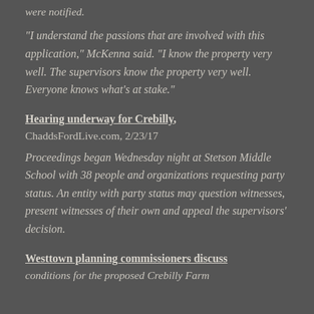were notified.
“I understand the passions that are involved with this application,” McKenna said. “I know the property very well. The supervisors know the property very well. Everyone knows what’s at stake.”
Hearing underway for Crebilly,
ChaddsFordLive.com, 2/23/17
Proceedings began Wednesday night at Stetson Middle School with 38 people and organizations requesting party status. An entity with party status may question witnesses, present witnesses of their own and appeal the supervisors’ decision.
Westtown planning commissioners discuss conditions for the proposed Crebilly Farm